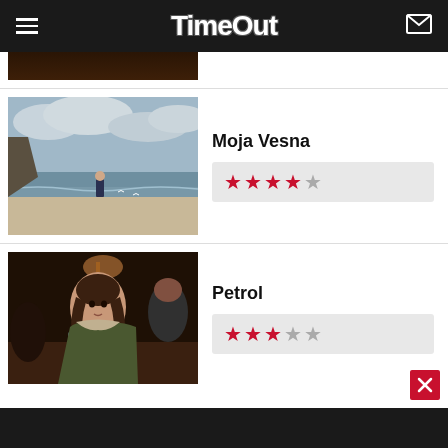Time Out
[Figure (photo): Partial view of a dark coastal/rocky scene, cropped at top]
[Figure (photo): Person standing on a beach with overcast sky and ocean in background - Moja Vesna movie still]
Moja Vesna
[Figure (other): Star rating: 4.5 out of 5 stars for Moja Vesna]
[Figure (photo): Woman in period costume at a dinner table - Petrol movie still]
Petrol
[Figure (other): Star rating: 3 out of 5 stars for Petrol]